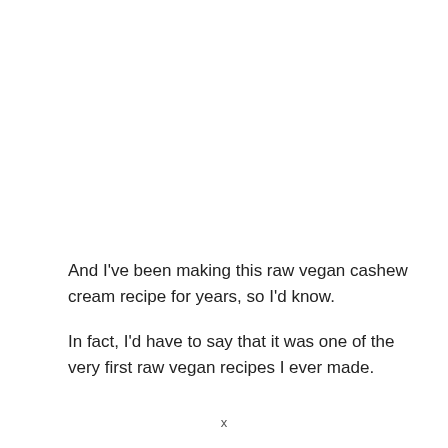And I've been making this raw vegan cashew cream recipe for years, so I'd know.
In fact, I'd have to say that it was one of the very first raw vegan recipes I ever made.
x